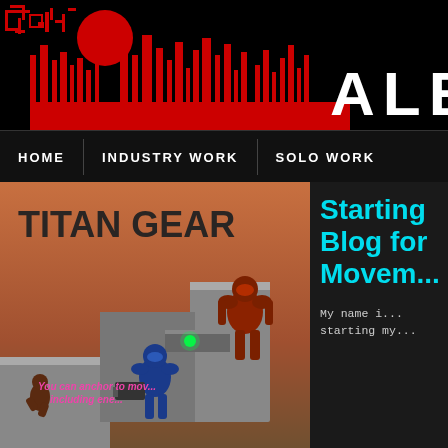[Figure (illustration): Website header banner with red and black cyberpunk/pixel-art cityscape silhouette, red sun/moon circle, decorative circuit-like patterns on left, vertical bar elements in the center, and the text ALEX in large white bold letters on the right.]
HOME | INDUSTRY WORK | SOLO WORK
[Figure (screenshot): Game screenshot from 'TITAN GEAR' showing three armored characters on grey block platforms against a reddish-brown sky background. Text overlay in pink/magenta reads 'You can anchor to mov... including ene...' A blue armored character holds a weapon, a red armored character stands on higher platform, and a third character is seen at lower left. A green glowing dot is visible in the center.]
Starting Blog for Movem
My name i starting my